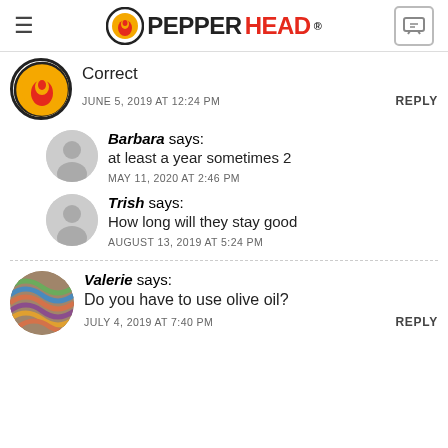PEPPERHEAD®
Correct
JUNE 5, 2019 AT 12:24 PM   REPLY
Barbara says: at least a year sometimes 2
MAY 11, 2020 AT 2:46 PM
Trish says: How long will they stay good
AUGUST 13, 2019 AT 5:24 PM
Valerie says: Do you have to use olive oil?
JULY 4, 2019 AT 7:40 PM   REPLY